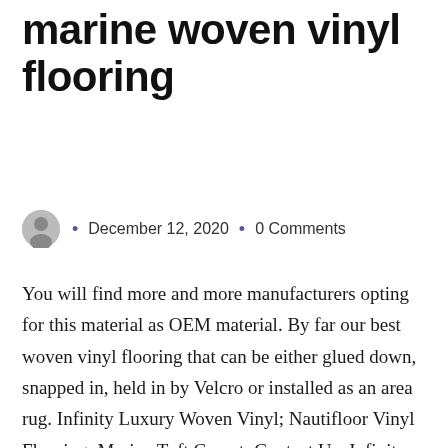marine woven vinyl flooring
December 12, 2020  •  0 Comments
You will find more and more manufacturers opting for this material as OEM material. By far our best woven vinyl flooring that can be either glued down, snapped in, held in by Velcro or installed as an area rug. Infinity Luxury Woven Vinyl; Nautifloor Vinyl Flooring; Marine Tuft Carpet; Contact Us; Infinity Luxury Woven Vinyl. Available in our standard woven texture or woven teak, this beautiful pontoon flooring is soft to walk on, slip resistant and tough enough to last. $24.15 $ 24. In the space provided above enter the number of